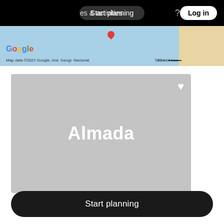Start planning   Places & activities   Log in
[Figure (map): Partial Google Map strip showing blue water/sky area and tan land area. Bottom bar shows Google logo, map attribution 'Map data ©2022 Google, Inst. Geogr. Nacional', scale '20 mi', and 'Terms of Use' link.]
[Figure (photo): Gray placeholder image card for Almada with white bold text 'Almada' centered and a white heart icon in the top right corner.]
Start planning